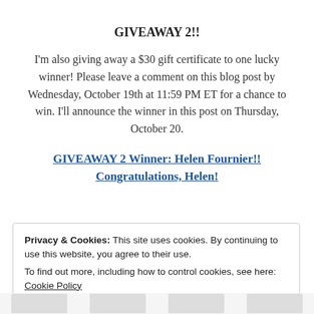GIVEAWAY 2!!
I'm also giving away a $30 gift certificate to one lucky winner! Please leave a comment on this blog post by Wednesday, October 19th at 11:59 PM ET for a chance to win. I'll announce the winner in this post on Thursday, October 20.
GIVEAWAY 2 Winner: Helen Fournier!! Congratulations, Helen!
Privacy & Cookies: This site uses cookies. By continuing to use this website, you agree to their use.
To find out more, including how to control cookies, see here: Cookie Policy
Close and accept